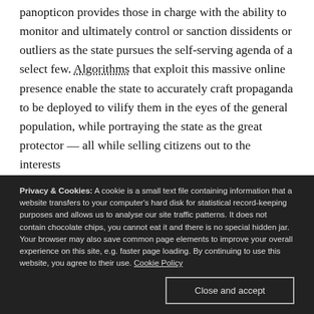panopticon provides those in charge with the ability to monitor and ultimately control or sanction dissidents or outliers as the state pursues the self-serving agenda of a select few. Algorithms that exploit this massive online presence enable the state to accurately craft propaganda to be deployed to vilify them in the eyes of the general population, while portraying the state as the great protector — all while selling citizens out to the interests
Privacy & Cookies: A cookie is a small text file containing information that a website transfers to your computer's hard disk for statistical record-keeping purposes and allows us to analyse our site traffic patterns. It does not contain chocolate chips, you cannot eat it and there is no special hidden jar. Your browser may also save common page elements to improve your overall experience on this site, e.g. faster page loading. By continuing to use this website, you agree to their use. Cookie Policy